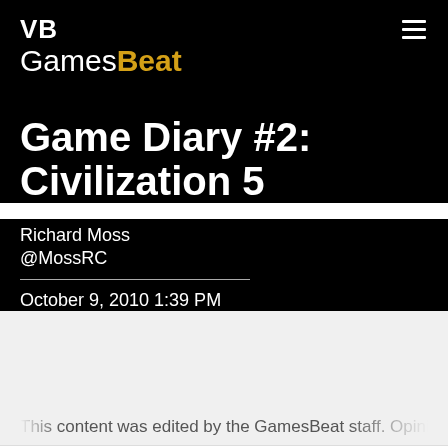VB GamesBeat
Game Diary #2: Civilization 5
Richard Moss
@MossRC
October 9, 2010 1:39 PM
This content was edited by the GamesBeat staff. Opinion...